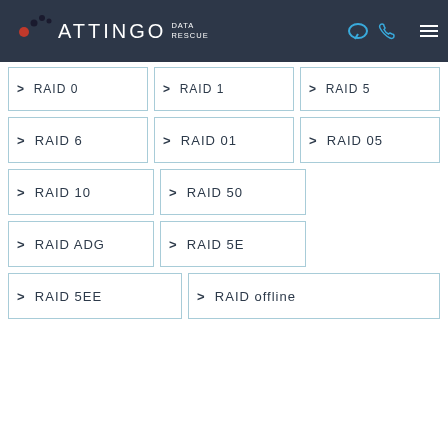ATTINGO DATA RESCUE
> RAID 0
> RAID 1
> RAID 5
> RAID 6
> RAID 01
> RAID 05
> RAID 10
> RAID 50
> RAID ADG
> RAID 5E
> RAID 5EE
> RAID offline